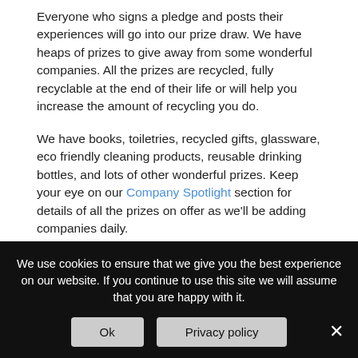Everyone who signs a pledge and posts their experiences will go into our prize draw. We have heaps of prizes to give away from some wonderful companies. All the prizes are recycled, fully recyclable at the end of their life or will help you increase the amount of recycling you do.
We have books, toiletries, recycled gifts, glassware, eco friendly cleaning products, reusable drinking bottles, and lots of other wonderful prizes. Keep your eye on our Company Spotlight section for details of all the prizes on offer as we'll be adding companies daily.
Every pledge you sign up to and report back on will give you one entry into the draw. So the more you take part, the more chances you have of winning.
We use cookies to ensure that we give you the best experience on our website. If you continue to use this site we will assume that you are happy with it.